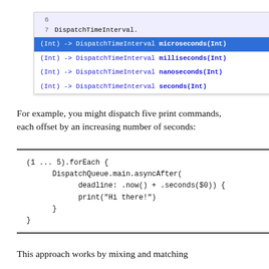[Figure (screenshot): Xcode IDE autocomplete popup showing DispatchTimeInterval methods: microseconds(Int) selected in blue, milliseconds(Int), nanoseconds(Int), seconds(Int)]
For example, you might dispatch five print commands, each offset by an increasing number of seconds:
(1 ... 5).forEach {
    DispatchQueue.main.asyncAfter(
        deadline: .now() + .seconds($0) {
        print("Hi there!")
    }
}
This approach works by mixing and matching